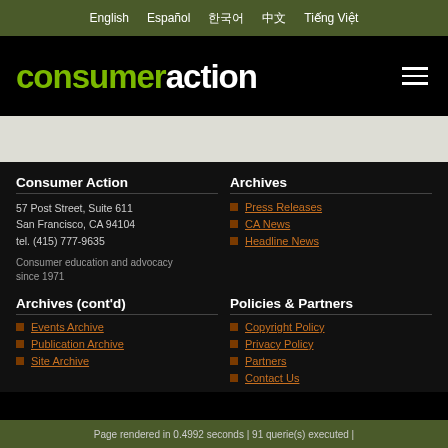English  Español  한국어  中文  Tiếng Việt
consumeraction
Consumer Action
57 Post Street, Suite 611
San Francisco, CA 94104
tel. (415) 777-9635

Consumer education and advocacy since 1971
Archives
Press Releases
CA News
Headline News
Archives (cont'd)
Events Archive
Publication Archive
Site Archive
Policies & Partners
Copyright Policy
Privacy Policy
Partners
Contact Us
Page rendered in 0.4992 seconds | 91 querie(s) executed |